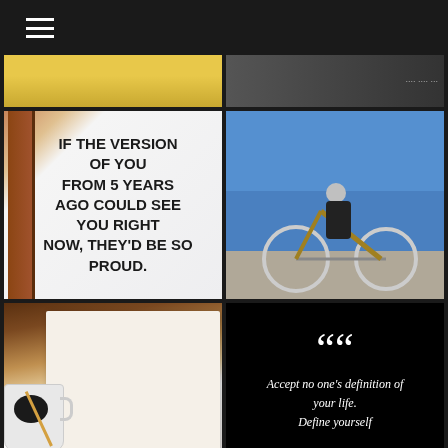[Figure (screenshot): Mobile app/website screenshot showing a grid of motivational images with hamburger menu icon at top left]
[Figure (photo): Partial yellow/warm-toned photo (cropped at top)]
[Figure (photo): Partial dark photo with text overlay (cropped at top right)]
[Figure (illustration): Motivational quote on white wall background with brown door: IF THE VERSION OF YOU FROM 5 YEARS AGO COULD SEE YOU RIGHT NOW, THEY'D BE SO PROUD.]
[Figure (photo): Person riding a motorcycle in front of a blue wall, with multi-image icon overlay]
[Figure (illustration): Open book on wooden table with coffee cup showing: FAILURE IS NOT THE OPPOSITE OF SUCCESS. IT IS PART OF SUCCESS.]
[Figure (illustration): Black background with quotation mark and text: Accept no one's definition of your life. Define yourself]